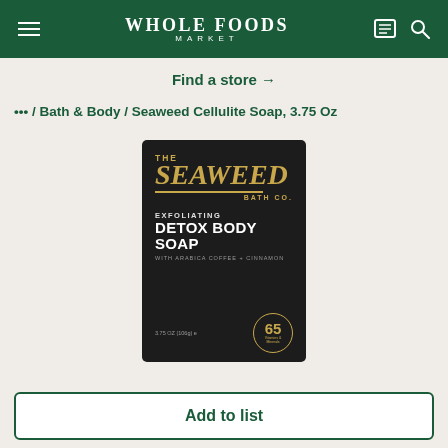Whole Foods Market
Find a store →
... / Bath & Body / Seaweed Cellulite Soap, 3.75 Oz
[Figure (photo): Product image of The Seaweed Bath Co. Exfoliating Detox Body Soap with Arabica Coffee + Cinnamon, 3.75 oz (106g), shown in a black box with gold lettering and a badge reading 65 Vitamins & Minerals.]
Add to list